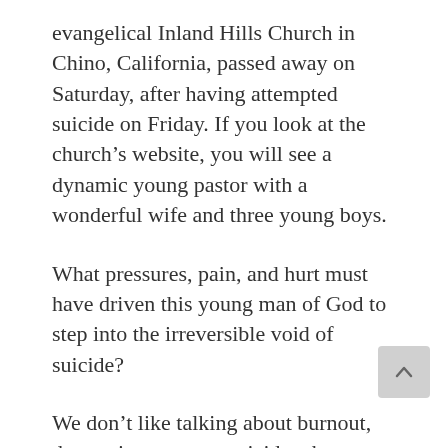evangelical Inland Hills Church in Chino, California, passed away on Saturday, after having attempted suicide on Friday. If you look at the church's website, you will see a dynamic young pastor with a wonderful wife and three young boys.
What pressures, pain, and hurt must have driven this young man of God to step into the irreversible void of suicide?
We don't like talking about burnout, depression, or even suicide when we talk about Adventist pastors. And yet, all of these emotions and conditions are a present reality in Adventist clergy as well